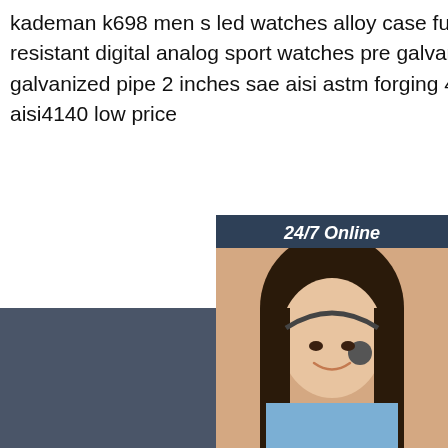kademan k698 men s led watches alloy case functional alarm chronograph water resistant digital analog sport watches pre galvanized pipe iron steel 1 1 4 steel tube galvanized pipe 2 inches sae aisi astm forging 4140 alloy steel bar sae4140 aisi4140 low price
[Figure (other): 24/7 Online chat widget with a woman wearing a headset, 'Click here for free chat!' text, and an orange QUOTATION button]
Tel
+86 15937107570
Phone
+86 15937107570
Fax
[Figure (other): Orange dots triangle logo with 'TOP' text in orange below it]